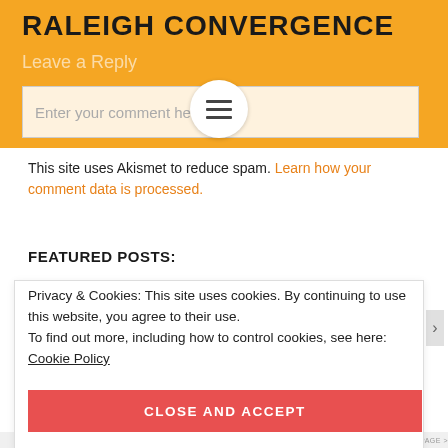RALEIGH CONVERGENCE
Leave a Reply
Enter your comment here...
This site uses Akismet to reduce spam. Learn how your comment data is processed.
FEATURED POSTS:
Privacy & Cookies: This site uses cookies. By continuing to use this website, you agree to their use.
To find out more, including how to control cookies, see here: Cookie Policy
CLOSE AND ACCEPT